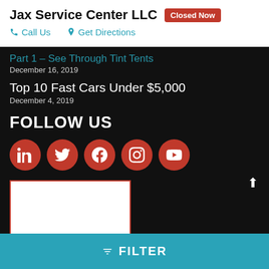Jax Service Center LLC
Closed Now
Call Us
Get Directions
Top 10 Fast Cars Under $5,000
December 4, 2019
FOLLOW US
[Figure (illustration): Social media icons: LinkedIn, Twitter, Facebook, Instagram, YouTube]
[Figure (photo): White box/image placeholder with red border]
FILTER